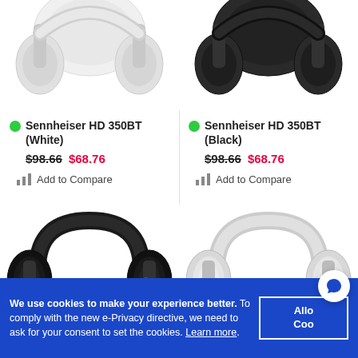[Figure (photo): Sennheiser HD 350BT white headphones, top portion cropped, viewed from the side]
[Figure (photo): Sennheiser HD 350BT black headphones, top portion cropped, viewed from the side]
Sennheiser HD 350BT (White)
$98.66  $68.76
Add to Compare
Sennheiser HD 350BT (Black)
$98.66  $68.76
Add to Compare
[Figure (photo): Sennheiser headphones in black, full view angled]
[Figure (photo): Sennheiser headphones in white/cream, full view angled]
We use cookies to make your experience better. To comply with the new e-Privacy directive, we need to ask for your consent to set the cookies. Learn more.